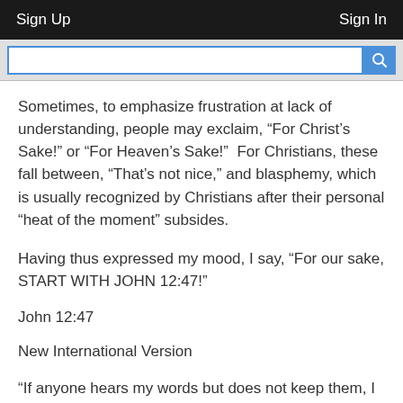Sign Up    Sign In
Sometimes, to emphasize frustration at lack of understanding, people may exclaim, “For Christ’s Sake!” or “For Heaven’s Sake!”  For Christians, these fall between, “That’s not nice,” and blasphemy, which is usually recognized by Christians after their personal “heat of the moment” subsides.
Having thus expressed my mood, I say, “For our sake, START WITH JOHN 12:47!”
John 12:47
New International Version
“If anyone hears my words but does not keep them, I do not judge that person. For I did not